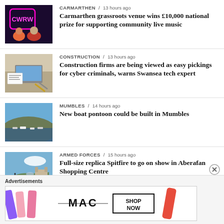[Figure (photo): Two men in front of a neon CWRW sign]
CARMARTHEN / 13 hours ago
Carmarthen grassroots venue wins £10,000 national prize for supporting community live music
[Figure (photo): Laptop and papers on a desk, construction planning]
CONSTRUCTION / 13 hours ago
Construction firms are being viewed as easy pickings for cyber criminals, warns Swansea tech expert
[Figure (photo): Aerial view of Mumbles marina with boats]
MUMBLES / 14 hours ago
New boat pontoon could be built in Mumbles
[Figure (photo): Spitfire replica aircraft on grass]
ARMED FORCES / 15 hours ago
Full-size replica Spitfire to go on show in Aberafan Shopping Centre
Advertisements
[Figure (photo): MAC cosmetics advertisement with lipsticks]